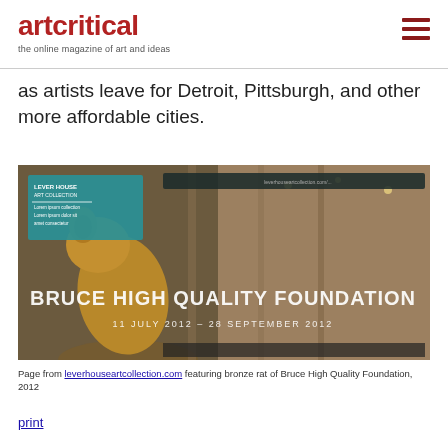artcritical — the online magazine of art and ideas
as artists leave for Detroit, Pittsburgh, and other more affordable cities.
[Figure (screenshot): Screenshot of leverhouseartcollection.com website featuring a large bronze rat sculpture in a lobby setting with text overlay reading 'BRUCE HIGH QUALITY FOUNDATION' and '11 JULY 2012 - 28 SEPTEMBER 2012'. Upper left shows a teal/blue information panel with 'LEVER HOUSE ART COLLECTION' branding.]
Page from leverhouseartcollection.com featuring bronze rat of Bruce High Quality Foundation, 2012
print